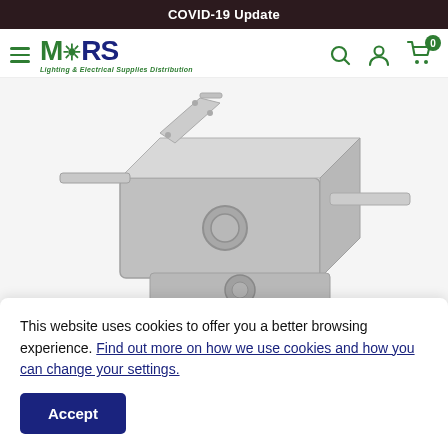COVID-19 Update
[Figure (logo): MARS Lighting & Electrical Supplies Distribution logo with hamburger menu icon]
[Figure (photo): Metal electrical junction box with mounting bracket, silver/galvanized steel]
This website uses cookies to offer you a better browsing experience. Find out more on how we use cookies and how you can change your settings.
Accept